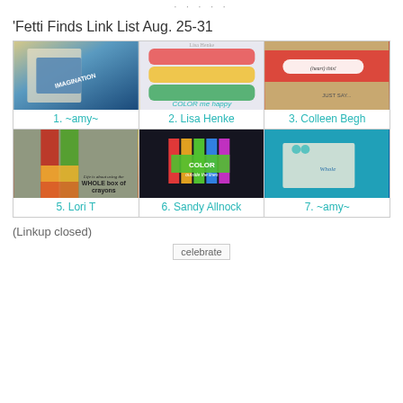· · · · ·
'Fetti Finds Link List Aug. 25-31
[Figure (photo): Grid of 6 craft/card images labeled with creator names. Row 1: 1. ~amy~, 2. Lisa Henke, 3. Colleen Begh. Row 2: 5. Lori T, 6. Sandy Allnock, 7. ~amy~]
(Linkup closed)
[Figure (other): celebrate image/icon]